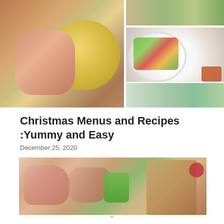[Figure (photo): Collage of food photos: raw pork/meat with a yellow bowl (left), a veggie salad in a white plate (top right), and a bowl with broth (bottom right)]
Christmas Menus and Recipes :Yummy and Easy
December 25, 2020
[Figure (photo): Raw pork/meat pieces in a white baking dish with a green vegetable, and a basket with red flowers on the right]